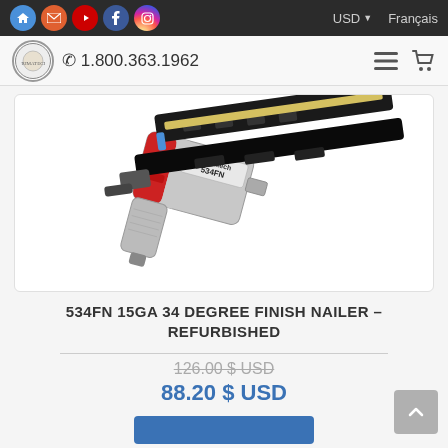Home | Mail | YouTube | Facebook | Instagram | USD | Français
1.800.363.1962
[Figure (photo): Primatech 534FN 15GA 34 degree finish nailer, a pneumatic nail gun shown diagonally, silver and black body with yellow nail strip visible]
534FN 15GA 34 DEGREE FINISH NAILER – REFURBISHED
126.00 $ USD (original price, struck through)
88.20 $ USD (sale price)